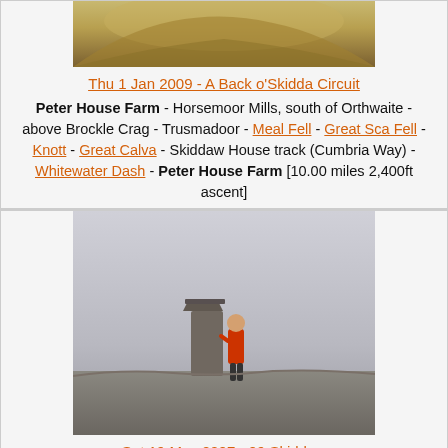[Figure (photo): Top portion of a hillside/moorland photo showing rocky terrain]
Thu 1 Jan 2009 - A Back o'Skidda Circuit
Peter House Farm - Horsemoor Mills, south of Orthwaite - above Brockle Crag - Trusmadoor - Meal Fell - Great Sca Fell - Knott - Great Calva - Skiddaw House track (Cumbria Way) - Whitewater Dash - Peter House Farm [10.00 miles 2,400ft ascent]
[Figure (photo): A person in red jacket standing next to a trig point on Skiddaw summit in misty conditions]
Sat 19 May 2007 - 09 Skiddaw
Mirehouse, The Old Sawmill Tea Room - Dodd - Long Doors - White Stones - Carl Side - Carlside Tarn - Skiddaw - Broad End - Cockup - Melbecks - Peter House Farm [6.50 miles